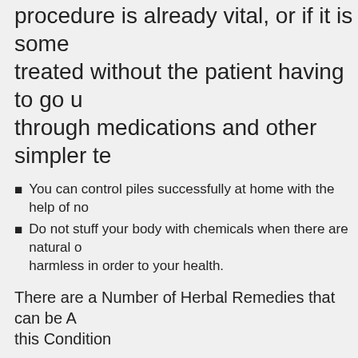procedure is already vital, or if it is some treated without the patient having to go through medications and other simpler te
You can control piles successfully at home with the help of no
Do not stuff your body with chemicals when there are natural harmless in order to your health.
There are a Number of Herbal Remedies that can be A this Condition
Japanese pagoda tree extract is an exce for this condition, due to the fact that it ca vein wall and provides nutrition that is ve health of the veins.
Check your diet plan and try incorporating some fruits and bra stool and make for less difficult bowel movements.